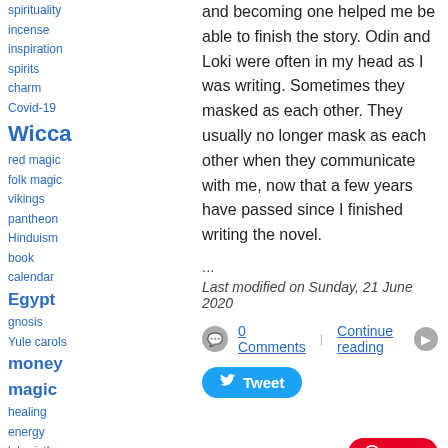spirituality
incense
inspiration
spirits
charm
Covid-19
Wicca
red magic
folk magic
vikings
pantheon
Hinduism
book
calendar
Egypt
gnosis
Yule carols
money magic
healing
energy
labyrinth
warlock
crystal magic
cats
candle magic
Gods
ancient art
essential oils
Taylor Ellwood
goddess inspiration
oracle
water
Racism
and becoming one helped me be able to finish the story. Odin and Loki were often in my head as I was writing. Sometimes they masked as each other. They usually no longer mask as each other when they communicate with me, now that a few years have passed since I finished writing the novel.
...
Last modified on Sunday, 21 June 2020
0 Comments
Continue reading
Tweet
Save
[Figure (photo): Author avatar photo showing a person outdoors with green foliage background]